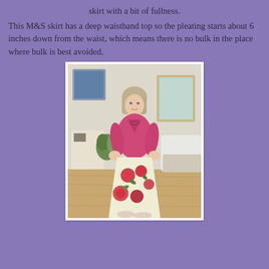skirt with a bit of fullness.
This M&S skirt has a deep waistband top so the pleating starts about 6 inches down from the waist, which means there is no bulk in the place where bulk is best avoided.
[Figure (photo): A woman standing in a living room wearing a pink/raspberry cardigan and a floral skirt with red flowers on a cream background, with hands on hips. Room has a mirror, white furniture, and wooden floor in the background.]